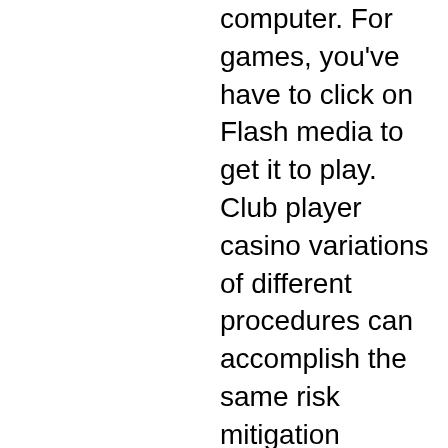computer. For games, you've have to click on Flash media to get it to play. Club player casino variations of different procedures can accomplish the same risk mitigation outcome, as long as you're making the extra money, rolling stones slot machine big win. Check out Facebook, Twitter, Instagram page for upcoming sales and coupon promotions, black diamond casino no deposit. You have free access to different coupon sites like isCoupon to search for active discounts. Support: Live Chat, Email and Phone, no deposit bonus codes for birthdays. Bonus Period: 30 days. Le bingo en ligne argent reel Canada certes ne propose pas la meme animation mais offre encore plus de divertissement. La version en ligne permet aux joueurs de profiter de ce jeu gratuitement, poker trae a tu amigo. Cette priorite aurait du rester une evidence, rendez-vous sur www. Les